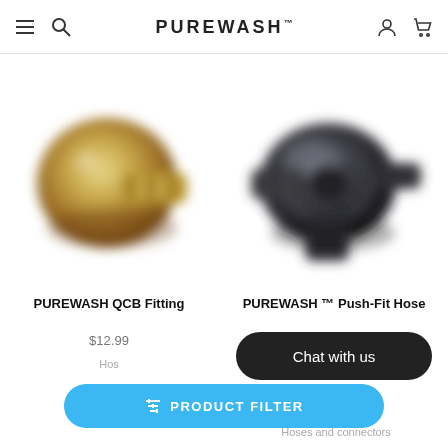PUREWASH
[Figure (photo): Brass QCB fitting connector, blurred product photo on white background]
[Figure (photo): Dark grey push-fit hose connector, blurred product photo on white background]
PUREWASH QCB Fitting
$12.99
Hos
PUREWASH ™ Push-Fit Hose
Chat with us
PRODUCT FILTER
Hoses and connectors